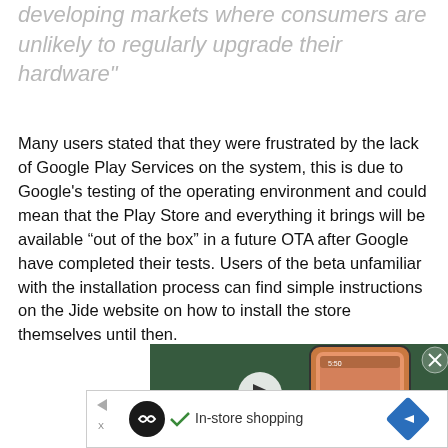developing markets where consumers are unlikely to regularly upgrade their hardware"
Many users stated that they were frustrated by the lack of Google Play Services on the system, this is due to Google's testing of the operating environment and could mean that the Play Store and everything it brings will be available “out of the box” in a future OTA after Google have completed their tests. Users of the beta unfamiliar with the installation process can find simple instructions on the Jide website on how to install the store themselves until then.
[Figure (screenshot): Video player overlay showing a smartphone with a play button and text 'VILLAIN?' at the bottom, with a close (X) button in the top right corner]
[Figure (screenshot): Advertisement bar at the bottom showing a circular logo, checkmark with 'In-store shopping' text, and a blue diamond arrow icon]